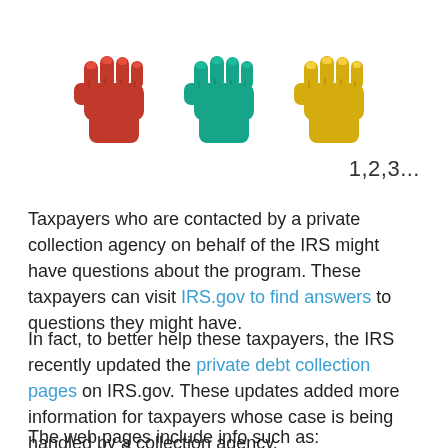[Figure (illustration): Three raised fists in red, teal/blue, and gold/yellow colors, arranged side by side at the top of the page]
1,2,3...
Taxpayers who are contacted by a private collection agency on behalf of the IRS might have questions about the program. These taxpayers can visit IRS.gov to find answers to questions they might have.
In fact, to better help these taxpayers, the IRS recently updated the private debt collection pages on IRS.gov. These updates added more information for taxpayers whose case is being handled by a collection agency.
The web pages include info such as: